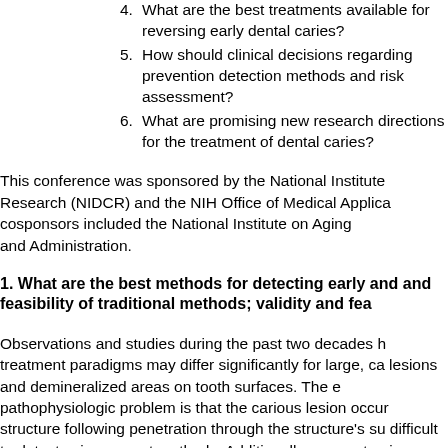4. What are the best treatments available for reversing early dental caries?
5. How should clinical decisions regarding prevention detection methods and risk assessment?
6. What are promising new research directions for the treatment of dental caries?
This conference was sponsored by the National Institute Research (NIDCR) and the NIH Office of Medical Applica cosponsors included the National Institute on Aging and Administration.
1. What are the best methods for detecting early and and feasibility of traditional methods; validity and fea
Observations and studies during the past two decades h treatment paradigms may differ significantly for large, ca lesions and demineralized areas on tooth surfaces. The pathophysiologic problem is that the carious lesion occur structure following penetration through the structure's su difficult to detect using current methods. Additionally, ca anatomic locations, often adjacent to existing restoration configuration and rate of spread. These differences make modality will have adequate sensitivity and specificity of application of multiple diagnostic tests to the individual p